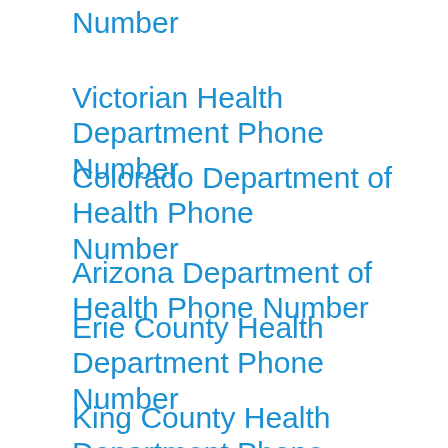Number
Victorian Health Department Phone Number
Colorado Department of Health Phone Number
Arizona Department of Health Phone Number
Erie County Health Department Phone Number
King County Health Department Phone Number
Wyoming Department of Health Phone Number
Lake County Health Department Phone Number